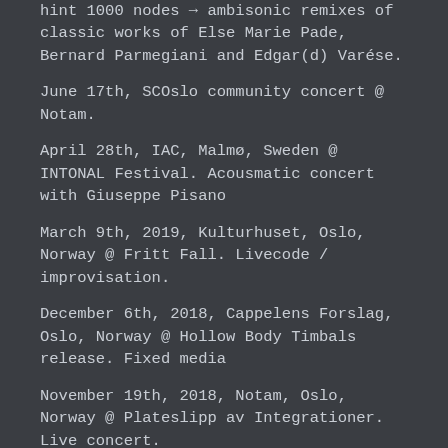hint 1000 nodes → ambisonic remixes of classic works of Else Marie Pade, Bernard Parmegiani and Edgar(d) Varése.
June 17th, SCOslo community concert @ Notam.
April 28th, IAC, Malmø, Sweden @ INTONAL Festival. Acousmatic concert with Giuseppe Pisano
March 9th, 2019, Kulturhuset, Oslo, Norway @ Fritt Fall. Livecode / improvisation.
December 6th, 2018, Cappelens Forslag, Oslo, Norway @ Hollow Body Timbals release. Fixed media
November 19th, 2018, Notam, Oslo, Norway @ Plateslipp av Integrationer. Live concert.
October 6th, 2018, Musikbiblioteket Odense, Odense, Danmark @ Algorave Odense. Livecode / improvisation.